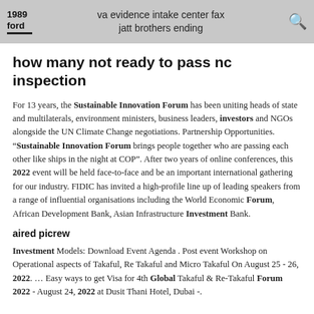1989 ford | va evidence intake center fax jatt brothers ending
how many not ready to pass nc inspection
For 13 years, the Sustainable Innovation Forum has been uniting heads of state and multilaterals, environment ministers, business leaders, investors and NGOs alongside the UN Climate Change negotiations. Partnership Opportunities. "Sustainable Innovation Forum brings people together who are passing each other like ships in the night at COP". After two years of online conferences, this 2022 event will be held face-to-face and be an important international gathering for our industry. FIDIC has invited a high-profile line up of leading speakers from a range of influential organisations including the World Economic Forum, African Development Bank, Asian Infrastructure Investment Bank.
aired picrew
Investment Models: Download Event Agenda . Post event Workshop on Operational aspects of Takaful, Re Takaful and Micro Takaful On August 25 - 26, 2022. ... Easy ways to get Visa for 4th Global Takaful & Re-Takaful Forum 2022 - August 24, 2022 at Dusit Thani Hotel, Dubai -.